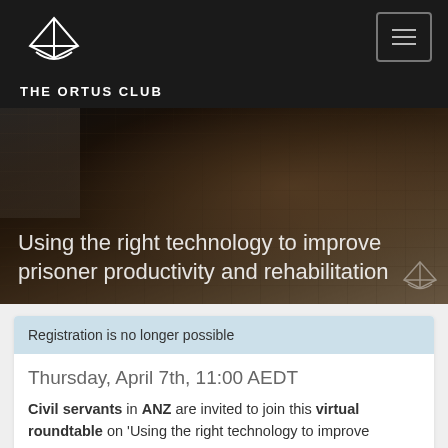THE ORTUS CLUB
[Figure (photo): Hero banner image showing hands typing on a laptop keyboard with dark overlay, with text overlay reading 'Using the right technology to improve prisoner productivity and rehabilitation']
Using the right technology to improve prisoner productivity and rehabilitation
Registration is no longer possible
Thursday, April 7th, 11:00 AEDT
Civil servants in ANZ are invited to join this virtual roundtable on 'Using the right technology to improve prisoner productivity and rehabilitation'.